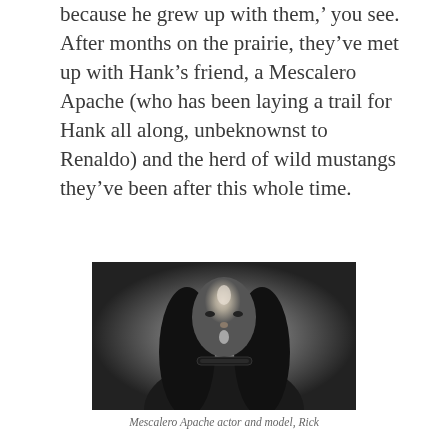because he grew up with them, you see. After months on the prairie, they've met up with Hank's friend, a Mescalero Apache (who has been laying a trail for Hank all along, unbeknownst to Renaldo) and the herd of wild mustangs they've been after this whole time.
[Figure (photo): Black and white portrait photograph of a Mescalero Apache actor and model named Rick, with long straight black hair, face paint marks, and wearing a choker necklace and traditional clothing.]
Mescalero Apache actor and model, Rick